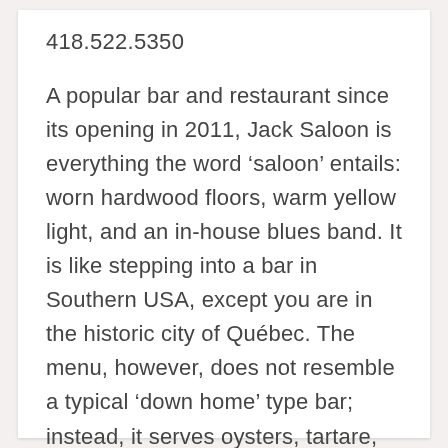418.522.5350
A popular bar and restaurant since its opening in 2011, Jack Saloon is everything the word ‘saloon’ entails: worn hardwood floors, warm yellow light, and an in-house blues band. It is like stepping into a bar in Southern USA, except you are in the historic city of Québec. The menu, however, does not resemble a typical ‘down home’ type bar; instead, it serves oysters, tartare, steaks and burgers with a gourmet flair.